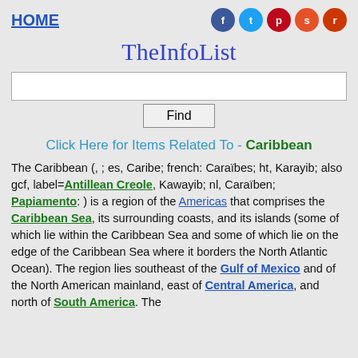HOME
TheInfoList
Click Here for Items Related To - Caribbean
The Caribbean (, ; es, Caribe; french: Caraïbes; ht, Karayib; also gcf, label=Antillean Creole, Kawayib; nl, Caraïben; Papiamento: ) is a region of the Americas that comprises the Caribbean Sea, its surrounding coasts, and its islands (some of which lie within the Caribbean Sea and some of which lie on the edge of the Caribbean Sea where it borders the North Atlantic Ocean). The region lies southeast of the Gulf of Mexico and of the North American mainland, east of Central America, and north of South America. The